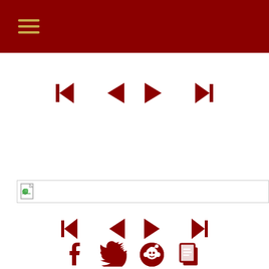Navigation menu header with hamburger icon
[Figure (infographic): Navigation control icons: skip-back, previous, next, skip-forward in dark red]
[Figure (illustration): Broken image placeholder with document icon and horizontal line]
[Figure (infographic): Navigation control icons: skip-back, previous, next, skip-forward in dark red (bottom)]
[Figure (infographic): Social share icons: Facebook, Twitter, Reddit, Copy in dark red]